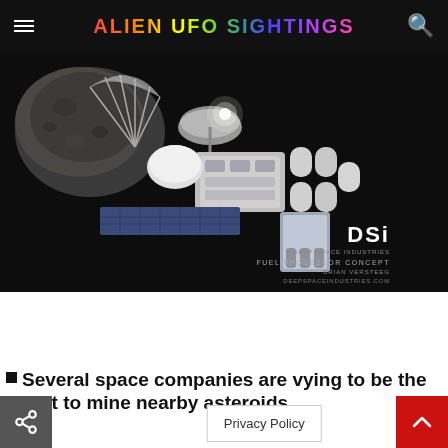ALIEN UFO SIGHTINGS
[Figure (photo): Dark space scene showing a spacecraft or fuel processor concept next to an asteroid. Solar panels, satellite dish, and modular components visible. DSI branding text reads: FUEL PROCESSOR CONCEPT, BRIAN VERSTEEG, DEEPSPACEINDUSTRIES.COM]
Several space companies are vying to be the first to mine nearby asteroids